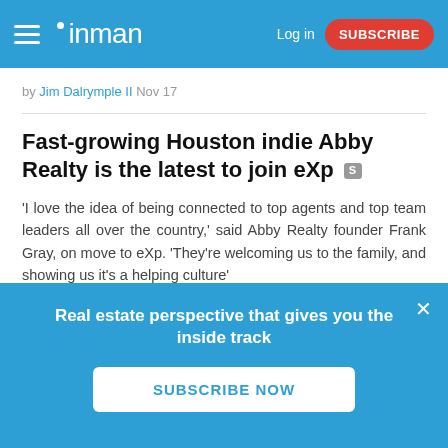inman | Log in | SUBSCRIBE
by Jim Dalrymple II Nov 17
Fast-growing Houston indie Abby Realty is the latest to join eXp
'I love the idea of being connected to top agents and top team leaders all over the country,' said Abby Realty founder Frank Gray, on move to eXp. 'They're welcoming us to the family, and showing us it's a helping culture'
by Craig C. Rowe Nov 19
Can eXp Realty maintain rapid, sustainable
Real estate perspective that gives you the inside track
SUBSCRIBE NOW